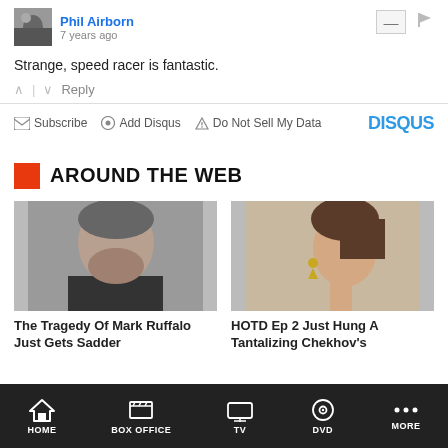Phil Airborn
7 years ago
Strange, speed racer is fantastic.
↑ | ↓   Reply
✉ Subscribe  ● Add Disqus  ▲ Do Not Sell My Data   DISQUS
AROUND THE WEB
[Figure (photo): Photo of Mark Ruffalo, a middle-aged man with gray hair]
The Tragedy Of Mark Ruffalo Just Gets Sadder
[Figure (photo): Photo of a young woman in profile view with earrings]
HOTD Ep 2 Just Hung A Tantalizing Chekhov's
HOME   BOX OFFICE   TV   DVD   MORE